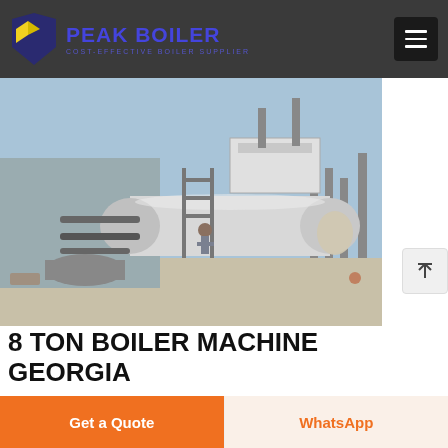PEAK BOILER — COST-EFFECTIVE BOILER SUPPLIER
[Figure (photo): Industrial 8-ton steam boiler being installed at an outdoor industrial site, large cylindrical silver boiler with piping and scaffolding, workers visible, industrial chimneys in background]
8 TON BOILER MACHINE GEORGIA
8 Ton Supplier Boiler Industrial Georgia, Industrial 8 Ton
Get a Quote
WhatsApp